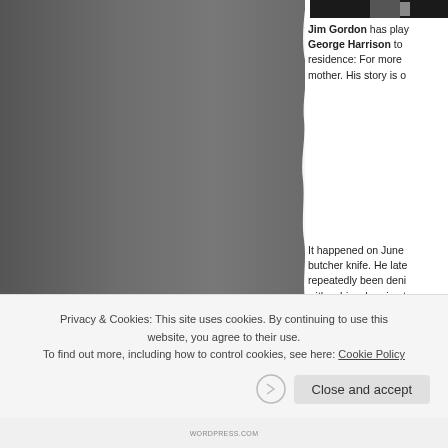[Figure (photo): Black and white photograph of a person, shown from the left side as a large grey panel with torn/rough right edge]
[Figure (photo): Small black and white photo strip at top right, partially visible]
Jim Gordon has played George Harrison to residence: For more mother. His story is o
It happened on June butcher knife. He late repeatedly been deni with schizophrenia at
al
Privacy & Cookies: This site uses cookies. By continuing to use this website, you agree to their use.
To find out more, including how to control cookies, see here: Cookie Policy
Close and accept
WORDPRESS.COM